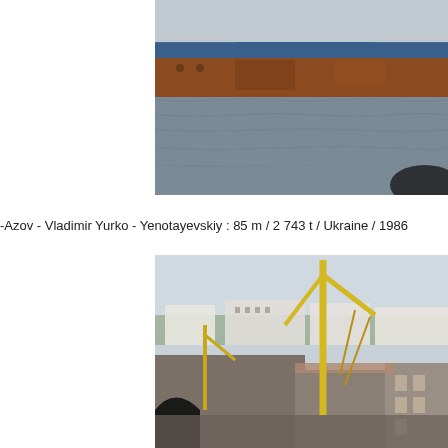[Figure (photo): A large cargo/bulk carrier ship on water, showing the hull rusted orange-brown with blue upper stripe, water in foreground, partial dark object in lower right corner.]
-Azov - Vladimir Yurko - Yenotayevskiy : 85 m / 2 743 t / Ukraine / 1986
[Figure (photo): A port/harbor industrial area with a large yellow crane visible, buildings and warehouses in background, urban skyline with trees, overcast sky.]